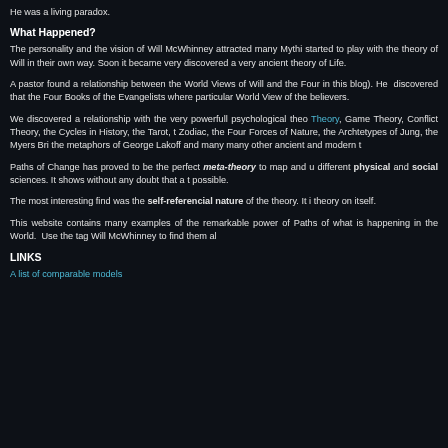He was a living paradox.
What Happened?
The personality and the vision of Will McWhinney attracted many Mythi started to play with the theory of Will in their own way. Soon it became very discovered a very ancient theory of Life.
A pastor found a relationship between the World Views of Will and the Four in this blog). He discovered that the Four Books of the Evangelists where particular World View of the believers.
We discovered a relationship with the very powerfull psychological theo Theory, Game Theory, Conflict Theory, the Cycles in History, the Tarot, t Zodiac, the Four Forces of Nature, the Archtetypes of Jung, the Myers Bri the metaphors of George Lakoff and many many other ancient and modern t
Paths of Change has proved to be the perfect meta-theory to map and u different physical and social sciences. It shows without any doubt that a t possible.
The most interesting find was the self-referencial nature of the theory. It i theory on itself.
This website contains many examples of the remarkable power of Paths of what is happening in the World. Use the tag Will McWhinney to find them al
LINKS
A list of comparable models